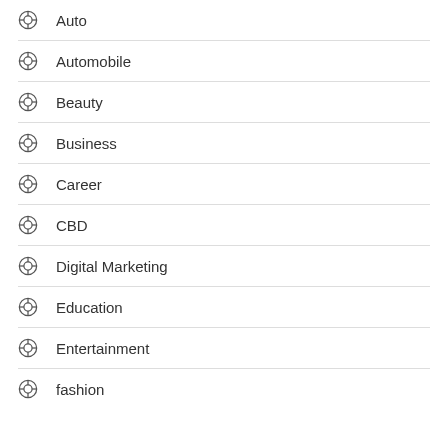Auto
Automobile
Beauty
Business
Career
CBD
Digital Marketing
Education
Entertainment
fashion